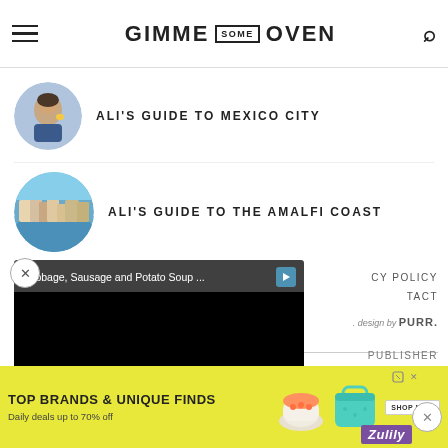GIMME SOME OVEN
ALI'S GUIDE TO MEXICO CITY
ALI'S GUIDE TO THE AMALFI COAST
[Figure (screenshot): Video overlay with title 'Cabbage, Sausage and Potato Soup ...' and black video player area]
CY POLICY
TACT
design by PURR.
PUBLISHER
[Figure (infographic): Advertisement banner: TOP BRANDS & UNIQUE FINDS - Daily deals up to 70% off - Zulily]